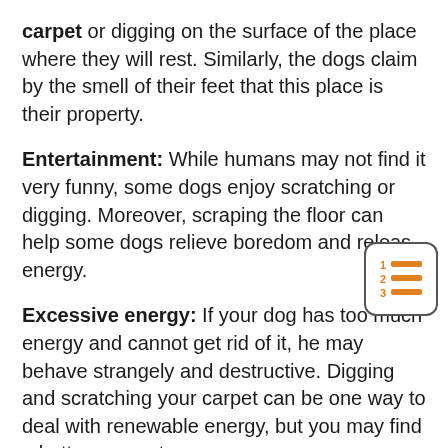carpet or digging on the surface of the place where they will rest. Similarly, the dogs claim by the smell of their feet that this place is their property.
Entertainment: While humans may not find it very funny, some dogs enjoy scratching or digging. Moreover, scraping the floor can help some dogs relieve boredom and release energy.
[Figure (illustration): A rounded square icon showing an orange numbered list symbol (1 2 3 with lines) on a white background with a grey border.]
Excessive energy: If your dog has too much energy and cannot get rid of it, he may behave strangely and destructive. Digging and scratching your carpet can be one way to deal with renewable energy, but you may find a better way out.